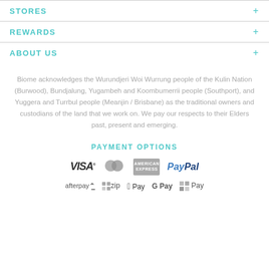STORES +
REWARDS +
ABOUT US +
Biome acknowledges the Wurundjeri Woi Wurrung people of the Kulin Nation (Burwood), Bundjalung, Yugambeh and Koombumerrii people (Southport), and Yuggera and Turrbul people (Meanjin / Brisbane) as the traditional owners and custodians of the land that we work on. We pay our respects to their Elders past, present and emerging.
PAYMENT OPTIONS
[Figure (logo): Payment method logos: VISA, MasterCard, American Express, PayPal, Afterpay, Zip, Apple Pay, Google Pay, Microsoft Pay]